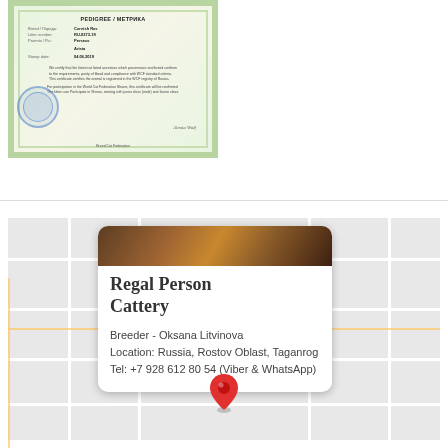[Figure (photo): A scanned certificate or pedigree document with green decorative border, text fields showing breed/owner information, a circular blue stamp, and a signature at the bottom right.]
[Figure (screenshot): A Google Maps screenshot showing a location info card popup for 'Regal Person Cattery'. The card includes a photo of cats at the top, the cattery name in large serif font, and details: Breeder - Oksana Litvinova, Location: Russia, Rostov Oblast, Taganrog, Tel: +7 928 612 80 54 (Viber & WhatsApp). A red map pin is shown below the card on the grey map background.]